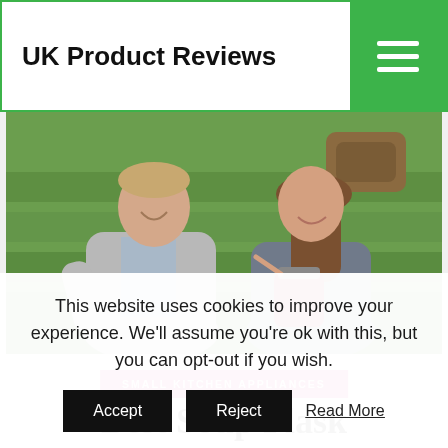UK Product Reviews
[Figure (photo): Two people sitting outdoors on green grass/steps, a man in a grey blazer and a woman with brown hair, sharing food from a red container]
SMALL KITCHEN APPLIANCES
Best Soup Flask
This website uses cookies to improve your experience. We'll assume you're ok with this, but you can opt-out if you wish.
Accept  Reject  Read More